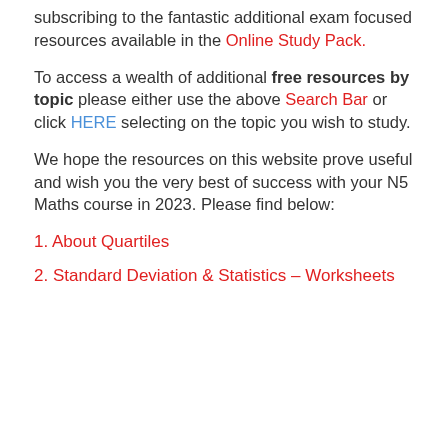subscribing to the fantastic additional exam focused resources available in the Online Study Pack.
To access a wealth of additional free resources by topic please either use the above Search Bar or click HERE selecting on the topic you wish to study.
We hope the resources on this website prove useful and wish you the very best of success with your N5 Maths course in 2023. Please find below:
1. About Quartiles
2. Standard Deviation & Statistics – Worksheets